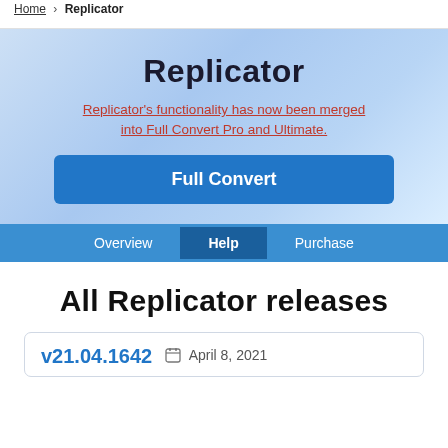Home > Replicator
Replicator
Replicator's functionality has now been merged into Full Convert Pro and Ultimate.
Full Convert
Overview  Help  Purchase
All Replicator releases
v21.04.1642   April 8, 2021